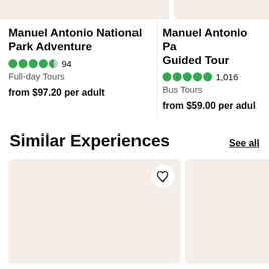Manuel Antonio National Park Adventure
4.5 stars, 94 reviews, Full-day Tours, from $97.20 per adult
Manuel Antonio Park Guided Tour
5 stars, 1,016 reviews, Bus Tours, from $59.00 per adult
Similar Experiences
See all
[Figure (photo): Product image card placeholder for similar experience listing 1 with heart/favorite button]
[Figure (photo): Product image card placeholder for similar experience listing 2]